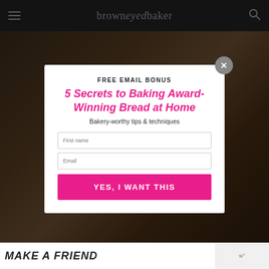brown eyed baker
[Figure (screenshot): Food/baking photo background, dark with chocolate/berry colors]
FREE EMAIL BONUS
5 Secrets to Baking Award-Winning Bread at Home
Bakery-worthy tips & techniques
First name
Email
YES, I WANT THIS
MAKE A FRIEND